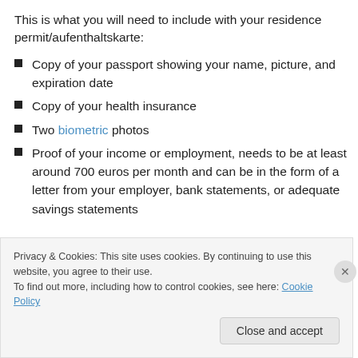This is what you will need to include with your residence permit/aufenthaltskarte:
Copy of your passport showing your name, picture, and expiration date
Copy of your health insurance
Two biometric photos
Proof of your income or employment, needs to be at least around 700 euros per month and can be in the form of a letter from your employer, bank statements, or adequate savings statements
Privacy & Cookies: This site uses cookies. By continuing to use this website, you agree to their use. To find out more, including how to control cookies, see here: Cookie Policy
Close and accept